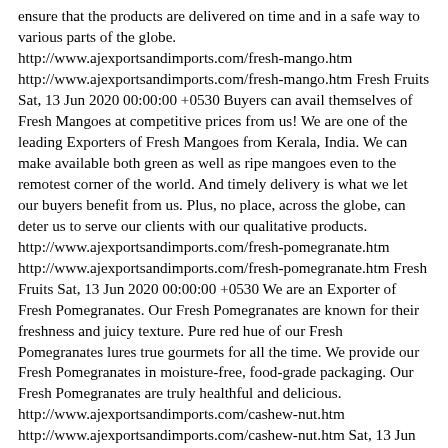ensure that the products are delivered on time and in a safe way to various parts of the globe. http://www.ajexportsandimports.com/fresh-mango.htm http://www.ajexportsandimports.com/fresh-mango.htm Fresh Fruits Sat, 13 Jun 2020 00:00:00 +0530 Buyers can avail themselves of Fresh Mangoes at competitive prices from us! We are one of the leading Exporters of Fresh Mangoes from Kerala, India. We can make available both green as well as ripe mangoes even to the remotest corner of the world. And timely delivery is what we let our buyers benefit from us. Plus, no place, across the globe, can deter us to serve our clients with our qualitative products. http://www.ajexportsandimports.com/fresh-pomegranate.htm http://www.ajexportsandimports.com/fresh-pomegranate.htm Fresh Fruits Sat, 13 Jun 2020 00:00:00 +0530 We are an Exporter of Fresh Pomegranates. Our Fresh Pomegranates are known for their freshness and juicy texture. Pure red hue of our Fresh Pomegranates lures true gourmets for all the time. We provide our Fresh Pomegranates in moisture-free, food-grade packaging. Our Fresh Pomegranates are truly healthful and delicious. http://www.ajexportsandimports.com/cashew-nut.htm http://www.ajexportsandimports.com/cashew-nut.htm Sat, 13 Jun 2020 00:00:00 +0530 We are an Exporter of Cashew Nuts. Our Cashew Nuts are properly processed and are packed with food-grade packaging. We are always dedicated to the satisfaction of our distinguished customers and hence our procurement agents are